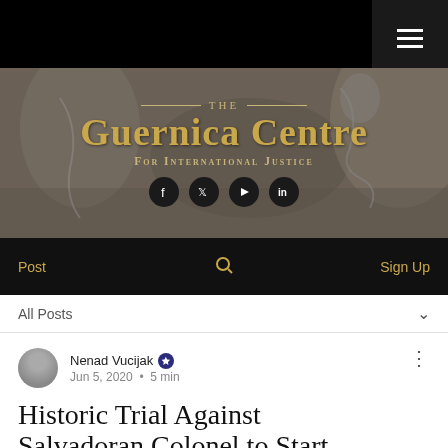[Figure (logo): The Guernica Centre for International Justice logo with social media icons on a dark sepia-toned background image]
Post   Sign Up
All Posts
Nenad Vucijak  Jun 5, 2020 • 5 min
Historic Trial Against Salvadoran Colonel to Start